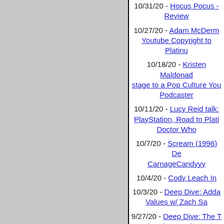10/31/20 - Hocus Pocus - Review
10/27/20 - Adam McDerm Youtube Copyright to Platinu
10/18/20 - Kristen Maldonad stage to a Pop Culture You Podcaster
10/11/20 - Lucy Reid talk: PlayStation, Road to Plati Doctor Who
10/7/20 - Scream (1996) De CarnageCandyyy
10/4/20 - Cody Leach In
10/3/20 - Deep Dive: Adda Values w/ Zach Sa
9/27/20 - Deep Dive: The T w/ Rudy's Movie Rev
9/22/20 - Duane Miller I
9/6/20 - Rachel Wagner R
8/30/20 - Remembering C Boseman, The New Mutants, M...